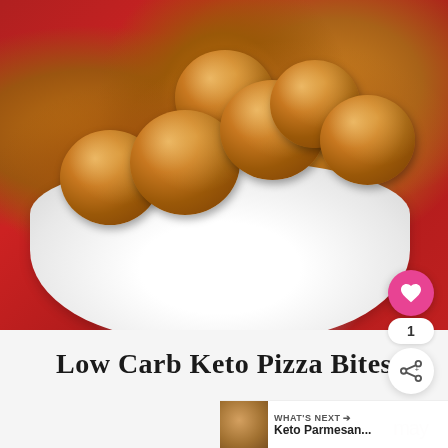[Figure (photo): Golden-brown keto pizza balls topped with grated cheese and herbs, arranged on a white plate against a red checkered background]
Low Carb Keto Pizza Bites
WHAT'S NEXT → Keto Parmesan...
may